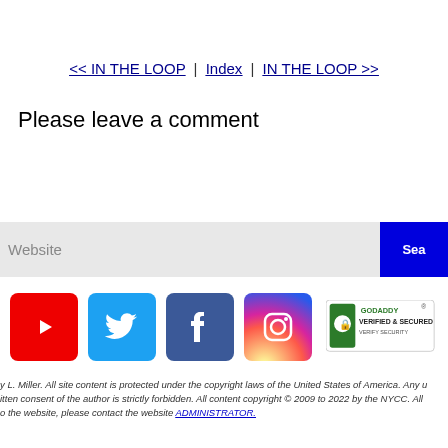<< IN THE LOOP  |  Index  |  IN THE LOOP >>
Please leave a comment
[Figure (screenshot): Search bar input field with blue search button on the right]
[Figure (infographic): Social media icons: YouTube, Twitter, Facebook, Instagram, and GoDaddy Verified & Secured badge]
y L. Miller. All site content is protected under the copyright laws of the United States of America. Any use without the written consent of the author is strictly forbidden. All content copyright © 2009 to 2022 by the NYCC. All rights reserved. To contact the website, please contact the website ADMINISTRATOR.